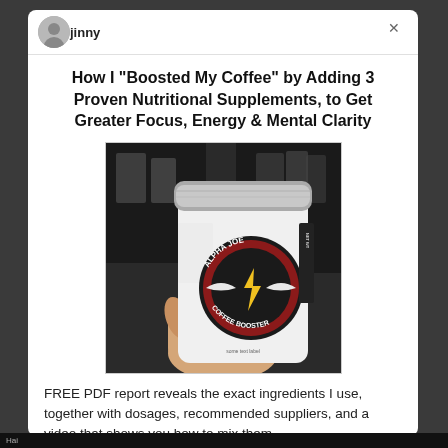jinny
How I “Boosted My Coffee” by Adding 3 Proven Nutritional Supplements, to Get Greater Focus, Energy & Mental Clarity
[Figure (photo): A hand holding a white cylindrical container of 'Alpha Joe Coffee Booster' supplement with a silver lid, featuring a logo with wings and a lightning bolt. Background shows a blurred shelf or counter area.]
FREE PDF report reveals the exact ingredients I use, together with dosages, recommended suppliers, and a video that shows you how to mix them.